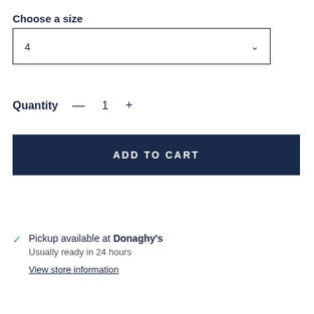Choose a size
[Figure (screenshot): A dropdown selector showing the value '4' with a chevron/down arrow on the right side, enclosed in a rectangle border.]
Quantity — 1 +
ADD TO CART
Pickup available at Donaghy's
Usually ready in 24 hours
View store information